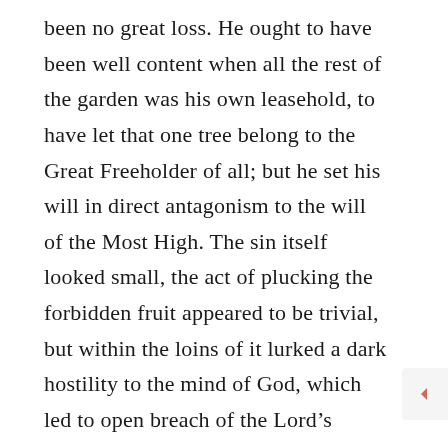been no great loss. He ought to have been well content when all the rest of the garden was his own leasehold, to have let that one tree belong to the Great Freeholder of all; but he set his will in direct antagonism to the will of the Most High. The sin itself looked small, the act of plucking the forbidden fruit appeared to be trivial, but within the loins of it lurked a dark hostility to the mind of God, which led to open breach of the Lord's command. That is the way in every trangressor's case, for every sinner is a rebel against God.